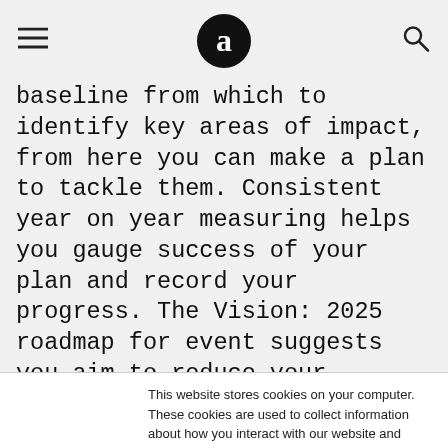[hamburger menu] [logo: a in circle] [search icon]
baseline from which to identify key areas of impact, from here you can make a plan to tackle them. Consistent year on year measuring helps you gauge success of your plan and record your progress. The Vision: 2025 roadmap for event suggests you aim to reduce your environmental impacts by 50% by 2025, as part of a net zero strategy. Find out more about the roadmap and pledge. Just getting your head around
This website stores cookies on your computer. These cookies are used to collect information about how you interact with our website and allow us to remember you. We use this information in order to improve and customize your browsing experience and for analytics and metrics about our visitors both on this website and other media. To find out more about the cookies we use, see our Privacy Policy
Accept